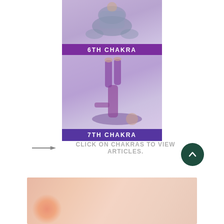[Figure (photo): Person in seated yoga pose wearing blue patterned pants, top portion cropped]
6TH CHAKRA
[Figure (photo): Person performing shoulder stand yoga pose, wearing purple outfit, legs raised straight up]
7TH CHAKRA
→ CLICK ON CHAKRAS TO VIEW ARTICLES.
[Figure (photo): Soft warm-toned gradient photo at bottom of page, partially visible]